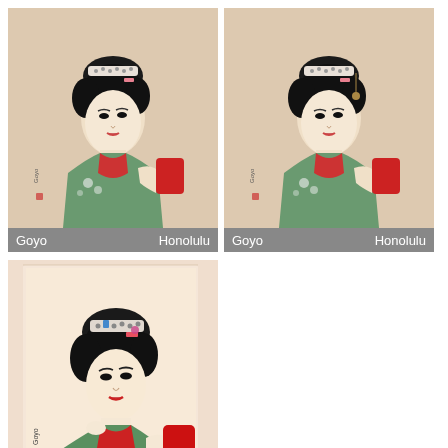[Figure (illustration): Japanese woodblock print by Goyo showing a woman in green kimono holding a red mirror, from Honolulu collection]
Goyo    Honolulu
[Figure (illustration): Japanese woodblock print by Goyo showing a woman in green kimono holding a red mirror, from Honolulu collection (second version)]
Goyo    Honolulu
[Figure (illustration): Japanese woodblock print by Goyo showing a woman in green kimono holding a red mirror, from JAODB collection (larger, more detailed version)]
Goyo    JAODB